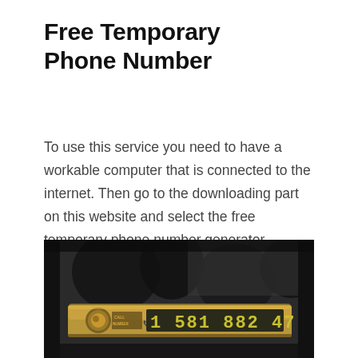Free Temporary Phone Number
To use this service you need to have a workable computer that is connected to the internet. Then go to the downloading part on this website and select the free temporary phone number generator software to download it on your PC.
[Figure (photo): A photo showing a temporary phone number display device mounted on a car dashboard or windshield. The device shows numbers '1 581 882 47' in large digital display format. The background shows a dark interior with trees visible through the window.]